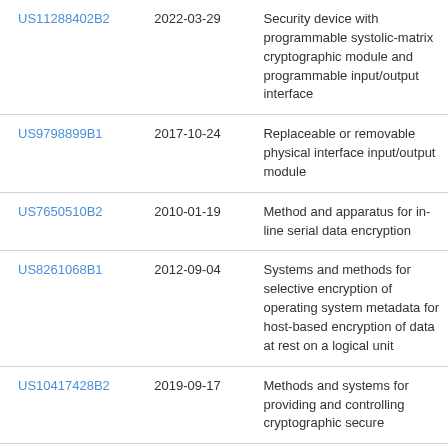| US11288402B2 | 2022-03-29 | Security device with programmable systolic-matrix cryptographic module and programmable input/output interface |
| US9798899B1 | 2017-10-24 | Replaceable or removable physical interface input/output module |
| US7650510B2 | 2010-01-19 | Method and apparatus for in-line serial data encryption |
| US8261068B1 | 2012-09-04 | Systems and methods for selective encryption of operating system metadata for host-based encryption of data at rest on a logical unit |
| US10417428B2 | 2019-09-17 | Methods and systems for providing and controlling cryptographic secure... |